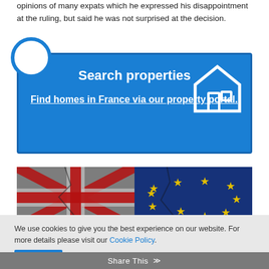opinions of many expats which he expressed his disappointment at the ruling, but said he was not surprised at the decision.
[Figure (infographic): Blue promotional box with circle icon and house icon. Title: Search properties. Link text: Find homes in France via our property portal.]
[Figure (photo): Photo of cracked Union Jack (UK flag) on left and EU flag with yellow stars on blue background on right, representing Brexit.]
We use cookies to give you the best experience on our website. For more details please visit our Cookie Policy.
Share This